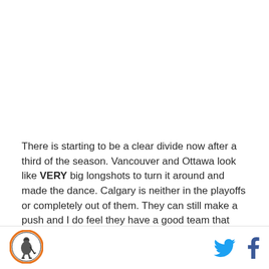[Figure (other): Blank white image placeholder area at the top of the page]
There is starting to be a clear divide now after a third of the season. Vancouver and Ottawa look like VERY big longshots to turn it around and made the dance. Calgary is neither in the playoffs or completely out of them. They can still make a push and I do feel they have a good team that can do just that. Montreal just
[Figure (logo): Circular sports team logo with orange border, featuring an illustration of a hockey player in action, on white background]
[Figure (other): Twitter bird icon in blue and Facebook 'f' icon in dark blue, social media share buttons]